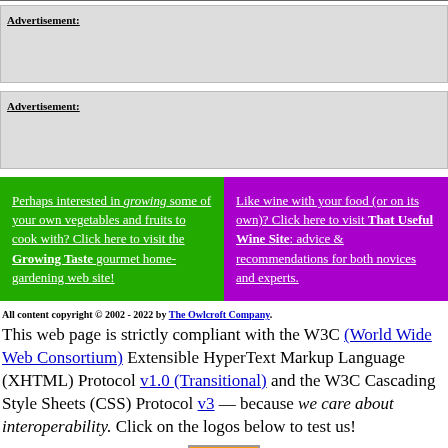[Figure (other): Advertisement box 1 (gray background, empty ad space)]
[Figure (other): Advertisement box 2 (gray background, empty ad space)]
Perhaps interested in growing some of your own vegetables and fruits to cook with? Click here to visit the Growing Taste gourmet home-gardening web site!
Like wine with your food (or on its own)? Click here to visit That Useful Wine Site: advice & recommendations for both novices and experts.
All content copyright © 2002 - 2022 by The Owlcroft Company.
This web page is strictly compliant with the W3C (World Wide Web Consortium) Extensible HyperText Markup Language (XHTML) Protocol v1.0 (Transitional) and the W3C Cascading Style Sheets (CSS) Protocol v3 — because we care about interoperability. Click on the logos below to test us!
[Figure (logo): W3C CSS validation badge/logo]